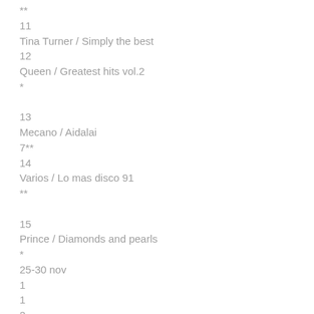**
11
Tina Turner / Simply the best
12
Queen / Greatest hits vol.2
*
13
Mecano / Aidalai
7**
14
Varios / Lo mas disco 91
**
15
Prince / Diamonds and pearls
*
25-30 nov
1
1
2
Michael Jackson / Dangerous
4**
2